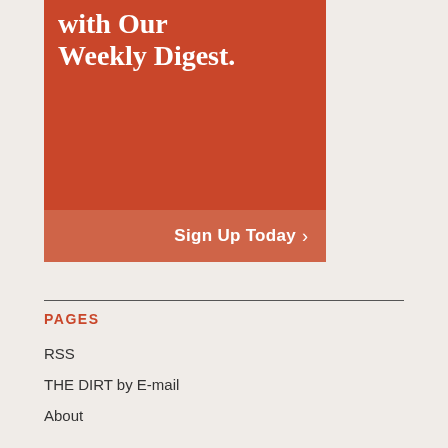[Figure (illustration): Orange/red banner advertisement with text 'with Our Weekly Digest.' and a 'Sign Up Today >' button in a lighter orange bar at the bottom]
PAGES
RSS
THE DIRT by E-mail
About